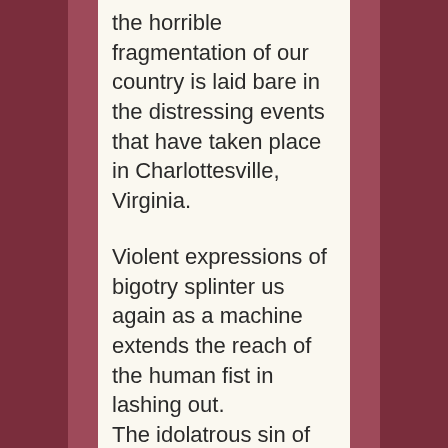the horrible fragmentation of our country is laid bare in the distressing events that have taken place in Charlottesville, Virginia.

Violent expressions of bigotry splinter us again as a machine extends the reach of the human fist in lashing out.
The idolatrous sin of white supremacy
has snuffed another life, gravely injured others and stunned us who witness another chapter of